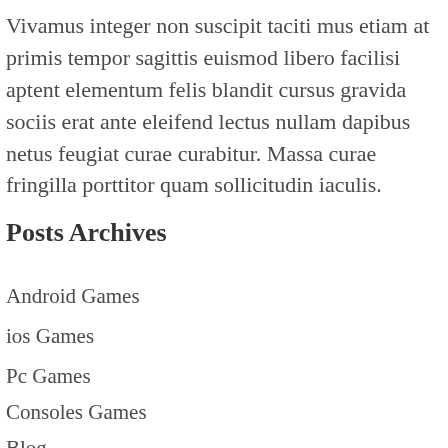Vivamus integer non suscipit taciti mus etiam at primis tempor sagittis euismod libero facilisi aptent elementum felis blandit cursus gravida sociis erat ante eleifend lectus nullam dapibus netus feugiat curae curabitur. Massa curae fringilla porttitor quam sollicitudin iaculis.
Posts Archives
Android Games
ios Games
Pc Games
Consoles Games
Blog